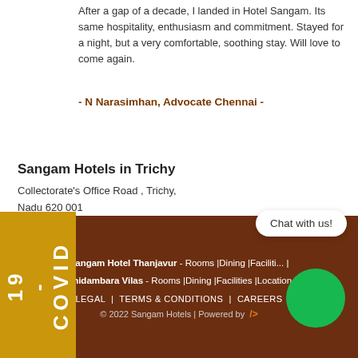After a gap of a decade, I landed in Hotel Sangam. Its same hospitality, enthusiasm and commitment. Stayed for a night, but a very comfortable, soothing stay. Will love to come again.
- N Narasimhan, Advocate Chennai -
Sangam Hotels in Trichy
Collectorate's Office Road , Trichy,
Nadu 620 001
+91-431-4244555
ews
m Hotel in Trichy
– based on 123 reviews
[Figure (other): COVID-19 yellow sidebar banner]
[Figure (other): Chat with us! speech bubble widget]
[Figure (other): Green circle chat icon]
Sangam Hotel Thanjavur - Rooms | Dining | Facilities | ...
Chidambara Vilas - Rooms | Dining | Facilities | Location
LEGAL | TERMS & CONDITIONS | CAREERS
© 2022 Sangam Hotels | Powered by />